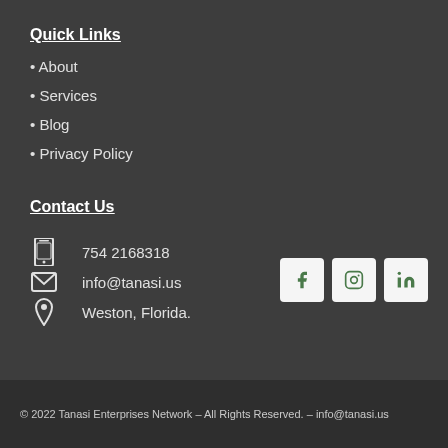Quick Links
• About
• Services
• Blog
• Privacy Policy
Contact Us
754 2168318
info@tanasi.us
Weston, Florida.
[Figure (illustration): Social media icons: Facebook, Instagram, LinkedIn in rounded square buttons]
© 2022 Tanasi Enterprises Network – All Rights Reserved. – info@tanasi.us